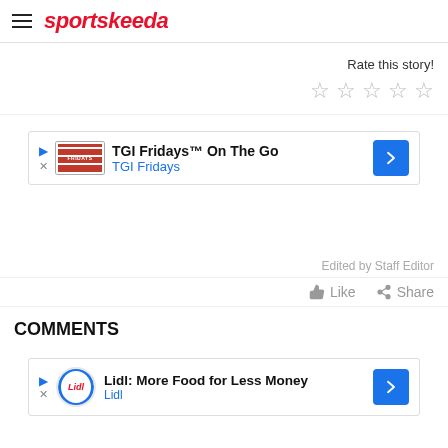sportskeeda
Rate this story!
[Figure (other): Five empty star rating icons]
[Figure (other): TGI Fridays On The Go advertisement banner]
Edited by Staff Editor
Like  Share
COMMENTS
[Figure (other): Lidl: More Food for Less Money advertisement banner]